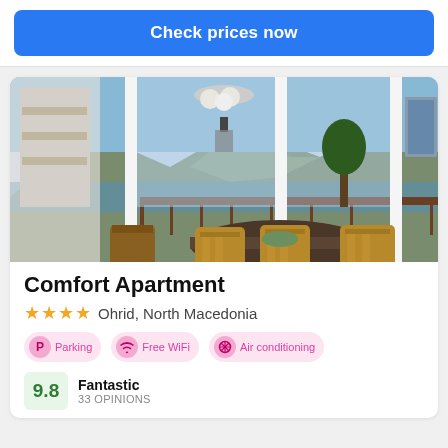Check prices now
[Figure (photo): Interior photo of an apartment dining area with wooden chairs around a round table, open glass doors leading to a balcony with a mountain and lake view in the background.]
Comfort Apartment
★★★★ Ohrid, North Macedonia
Parking   Free WiFi   Air conditioning
Fantastic 9.8 · 33 OPINIONS